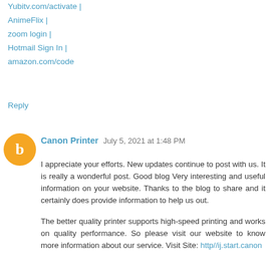Yubitv.com/activate |
AnimeFlix |
zoom login |
Hotmail Sign In |
amazon.com/code
Reply
Canon Printer  July 5, 2021 at 1:48 PM
I appreciate your efforts. New updates continue to post with us. It is really a wonderful post. Good blog Very interesting and useful information on your website. Thanks to the blog to share and it certainly does provide information to help us out.

The better quality printer supports high-speed printing and works on quality performance. So please visit our website to know more information about our service. Visit Site: http//ij.start.canon
Reply